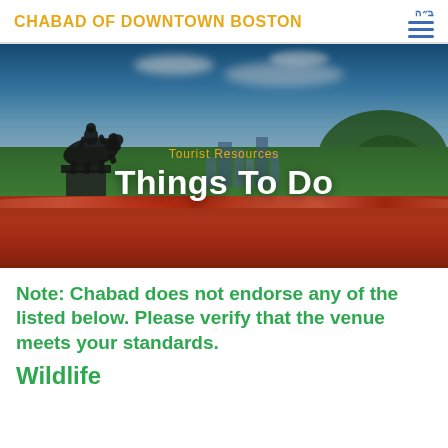CHABAD OF DOWNTOWN BOSTON
[Figure (photo): Hero image of Boston Public Garden with tulip beds, equestrian statue, city skyline, and blue sky with clouds. Overlay text reads 'Tourist Resources' in gold and 'Things To Do' in bold white.]
Note: Chabad does not endorse any of the listed below. Please verify that the venue meets your standards.
Wildlife